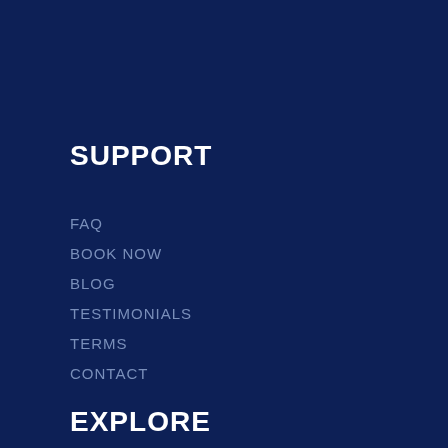SUPPORT
FAQ
BOOK NOW
BLOG
TESTIMONIALS
TERMS
CONTACT
EXPLORE
PRICING
ONLINE COURSES
IN-PERSON TUITION
OUR TUTORS
MUSIC CLASSES